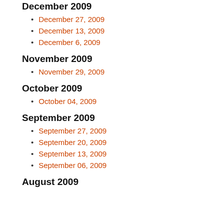December 2009
December 27, 2009
December 13, 2009
December 6, 2009
November 2009
November 29, 2009
October 2009
October 04, 2009
September 2009
September 27, 2009
September 20, 2009
September 13, 2009
September 06, 2009
August 2009